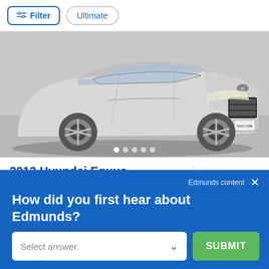[Figure (screenshot): Top navigation bar with Filter button (with sliders icon) and Ultimate pill button]
[Figure (photo): Silver 2013 Hyundai Equus sedan parked, front-three-quarter view, with license plate 7MCV388. Image carousel with 5 dot indicators at bottom.]
2013 Hyundai Equus
Ultimate Sedan
$19,998
Edmunds content
How did you first hear about Edmunds?
Select answer
SUBMIT